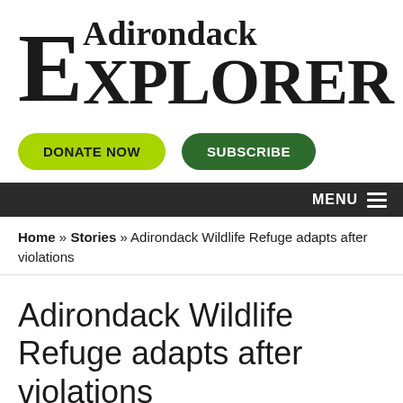Adirondack Explorer
[Figure (logo): Adirondack Explorer logo in serif font]
DONATE NOW   SUBSCRIBE
MENU
Home » Stories » Adirondack Wildlife Refuge adapts after violations
Adirondack Wildlife Refuge adapts after violations
April 24, 2020 — 1 Comment